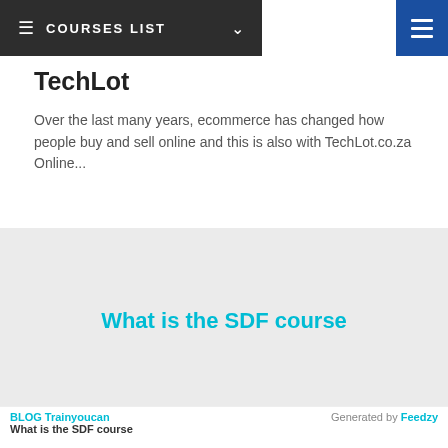COURSES LIST
TechLot
Over the last many years, ecommerce has changed how people buy and sell online and this is also with TechLot.co.za Online...
[Figure (other): Gray placeholder image box with centered cyan text reading 'What is the SDF course']
BLOG Trainyoucan | What is the SDF course | Generated by Feedzy